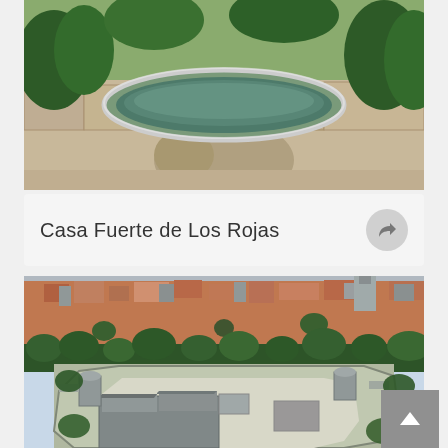[Figure (photo): Aerial or close-up photo of a circular stone fountain basin with water, surrounded by green bushes and trees on a stone-paved ground.]
Casa Fuerte de Los Rojas
[Figure (photo): Aerial photograph of a historic stone castle/fortress with thick walls and towers, surrounded by trees, with a city of terracotta-roofed buildings visible in the background.]